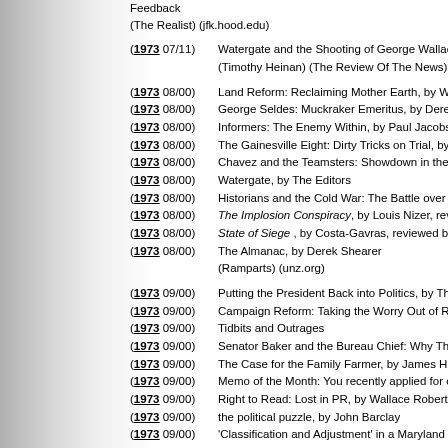Feedback (The Realist) (jfk.hood.edu)
(1973 07/11) Watergate and the Shooting of George Wallace (Timothy Heinan) (The Review Of The News) (jfk.h...)
(1973 08/00) Land Reform: Reclaiming Mother Earth, by Warren T...
(1973 08/00) George Seldes: Muckraker Emeritus, by Derek Shea...
(1973 08/00) Informers: The Enemy Within, by Paul Jacobs (Cont...
(1973 08/00) The Gainesville Eight: Dirty Tricks on Trial, by Rob E...
(1973 08/00) Chavez and the Teamsters: Showdown in the Coach...
(1973 08/00) Watergate, by The Editors
(1973 08/00) Historians and the Cold War: The Battle over Americ...
(1973 08/00) The Implosion Conspiracy, by Louis Nizer, reviewed...
(1973 08/00) State of Siege, by Costa-Gavras, reviewed by Andre...
(1973 08/00) The Almanac, by Derek Shearer (Ramparts) (unz.org)
(1973 09/00) Putting the President Back into Politics, by Thomas M...
(1973 09/00) Campaign Reform: Taking the Worry Out of Reelecti...
(1973 09/00) Tidbits and Outrages
(1973 09/00) Senator Baker and the Bureau Chief: Why They're W...
(1973 09/00) The Case for the Family Farmer, by James Hightower
(1973 09/00) Memo of the Month: You recently applied for conside...
(1973 09/00) Right to Read: Lost in PR, by Wallace Roberts
(1973 09/00) the political puzzle, by John Barclay
(1973 09/00) 'Classification and Adjustment' in a Maryland Wome...
(1973 09/00) political book notes (Washington Monthly) (unz.org)
(1973 09/02) His only regret-not to have killed de Gaulle: The rea... (Ted Morgan) (The New York Times Magazine) (jfk.h...)